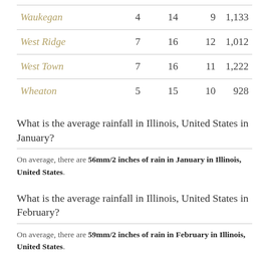| Waukegan | 4 | 14 | 9 | 1,133 |
| West Ridge | 7 | 16 | 12 | 1,012 |
| West Town | 7 | 16 | 11 | 1,222 |
| Wheaton | 5 | 15 | 10 | 928 |
What is the average rainfall in Illinois, United States in January?
On average, there are 56mm/2 inches of rain in January in Illinois, United States.
What is the average rainfall in Illinois, United States in February?
On average, there are 59mm/2 inches of rain in February in Illinois, United States.